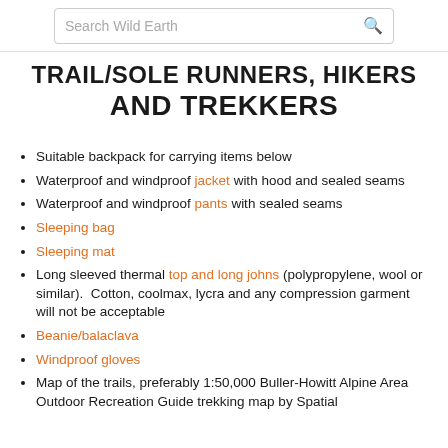Search Wild Earth
TRAIL/SOLE RUNNERS, HIKERS AND TREKKERS
Suitable backpack for carrying items below
Waterproof and windproof jacket with hood and sealed seams
Waterproof and windproof pants with sealed seams
Sleeping bag
Sleeping mat
Long sleeved thermal top and long johns (polypropylene, wool or similar).  Cotton, coolmax, lycra and any compression garment will not be acceptable
Beanie/balaclava
Windproof gloves
Map of the trails, preferably 1:50,000 Buller-Howitt Alpine Area Outdoor Recreation Guide trekking map by Spatial